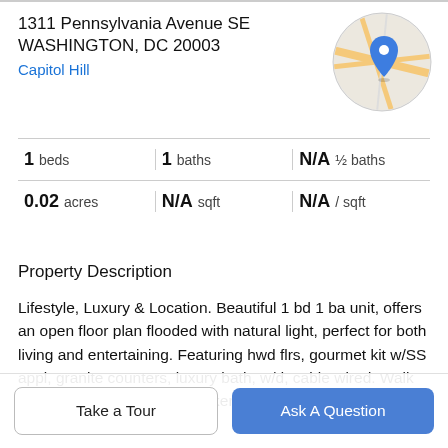1311 Pennsylvania Avenue SE
WASHINGTON, DC 20003
Capitol Hill
[Figure (map): Circular map thumbnail showing Capitol Hill area with a blue location pin marker]
| 1 beds | 1 baths | N/A ½ baths |
| 0.02 acres | N/A sqft | N/A / sqft |
Property Description
Lifestyle, Luxury & Location. Beautiful 1 bd 1 ba unit, offers an open floor plan flooded with natural light, perfect for both living and entertaining. Featuring hwd flrs, gourmet kit w/SS appl, granite counters, luxury bath, w/d, cable wired. Walk Score says that this is a Walker's